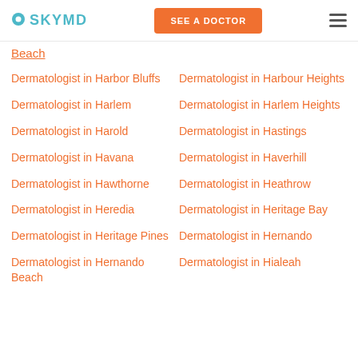SKYMD | SEE A DOCTOR
Beach
Dermatologist in Harbor Bluffs
Dermatologist in Harbour Heights
Dermatologist in Harlem
Dermatologist in Harlem Heights
Dermatologist in Harold
Dermatologist in Hastings
Dermatologist in Havana
Dermatologist in Haverhill
Dermatologist in Hawthorne
Dermatologist in Heathrow
Dermatologist in Heredia
Dermatologist in Heritage Bay
Dermatologist in Heritage Pines
Dermatologist in Hernando
Dermatologist in Hernando Beach
Dermatologist in Hialeah